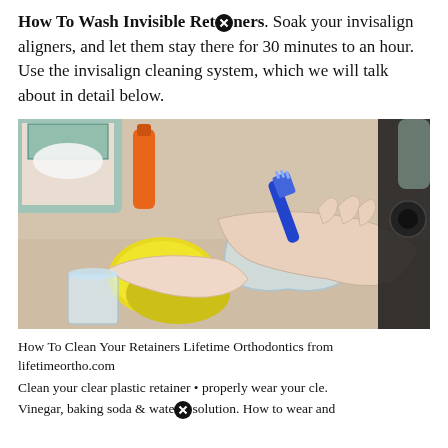How To Wash Invisible Retainers. Soak your invisalign aligners, and let them stay there for 30 minutes to an hour. Use the invisalign cleaning system, which we will talk about in detail below.
[Figure (photo): Hands holding a clear dental retainer/aligner with a blue toothbrush, next to a yellow retainer case, orange liquid bottle, tissue box, and glass of water on a bathroom counter.]
How To Clean Your Retainers Lifetime Orthodontics from lifetimeortho.com
Clean your clear plastic retainer • properly wear your cle.
Vinegar, baking soda & water solution. How to wear and